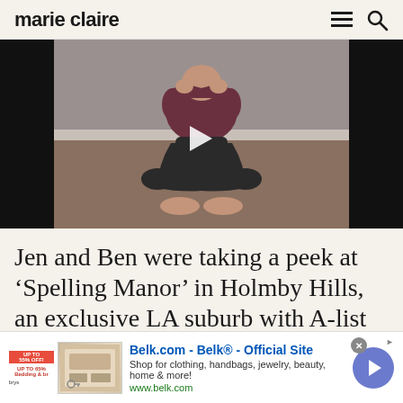marie claire
[Figure (photo): Video thumbnail of a person in yoga/meditation pose sitting cross-legged, wearing dark pants and a dark top, with a play button overlay in the center]
Jen and Ben were taking a peek at ‘Spelling Manor’ in Holmby Hills, an exclusive LA suburb with A-list residents including the like
[Figure (infographic): Advertisement banner for Belk.com - Belk Official Site. Shows product thumbnails, text: Belk.com - Belk® - Official Site, Shop for clothing, handbags, jewelry, beauty, home & more!, www.belk.com, with a blue arrow button]